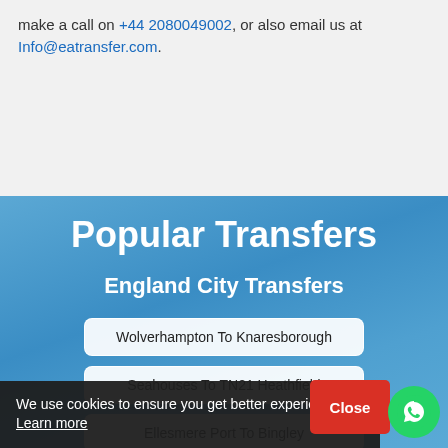make a call on +44 2080049002, or also email us at Info@eatransfer.com.
Popular Transfers
England City Transfers
Wolverhampton To Knaresborough
Seahouses To TN21 Heathfield
Ellesmere Port To Bingley
...bburn To SM4 Morden
We use cookies to ensure you get better experience Learn more
Close